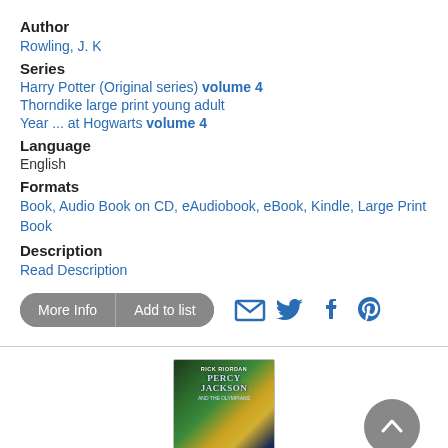Author
Rowling, J. K
Series
Harry Potter (Original series) volume 4
Thorndike large print young adult
Year ... at Hogwarts volume 4
Language
English
Formats
Book, Audio Book on CD, eAudiobook, eBook, Kindle, Large Print Book
Description
Read Description
More Info | Add to list
[Figure (photo): Book cover of Percy Jackson and the Olympians by Rick Riordan]